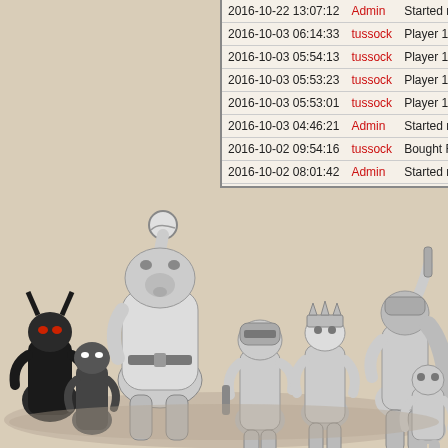| Date/Time | User | Action |
| --- | --- | --- |
| 2016-10-22 13:07:12 | Admin | Started n |
| 2016-10-03 06:14:33 | tussock | Player 11 |
| 2016-10-03 05:54:13 | tussock | Player 11 |
| 2016-10-03 05:53:23 | tussock | Player 11 |
| 2016-10-03 05:53:01 | tussock | Player 11 |
| 2016-10-03 04:46:21 | Admin | Started n |
| 2016-10-02 09:54:16 | tussock | Bought R |
| 2016-10-02 08:01:42 | Admin | Started n |
| 2016-09-09 04:51:20 | Admin | Started n |
| 2016-08-16 11:28:24 | tussock | Team act |
[Figure (illustration): Fantasy game characters illustration - a group of fantasy/RPG style characters including orcs, warriors, and other creatures in a comic book style, black and white with grey tones, positioned along the bottom of the page.]